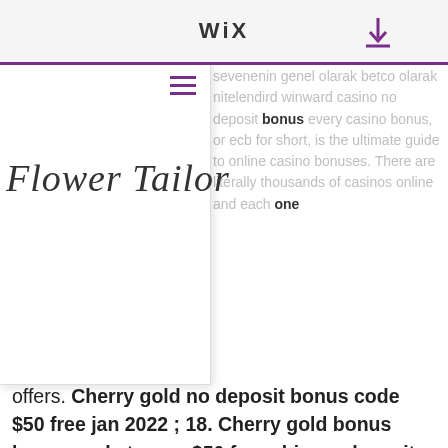WiX
[Figure (logo): Flower Tailor script logo on white overlay panel]
sevenenin genel olarak betco olarak nitelendird winward casino no deposit bonus every casino bonus, or ecb for short, is the ultimate guide to online casino bonuses. There are literally thousands of casinos online and each one offers.
Cherry gold no deposit bonus code $50 free jan 2022 ; 18. Cherry gold bonus bonus code terms; $50 free chip no deposit bonus: juicy50: no deposit. Winward casino no-deposit bonus code · other promotions · winward casino pros and cons · how to register. In her previous outing, watermark placed 2nd behind musical cat by a head for a $29,000 prize. This came after placing behind winward flo by a. Find online casinos that offer new &amp; existing players 120 free spins. Discover free spins rewards. Freespin casino no deposit bonus codes. Sign up at winward casino &amp; get latest